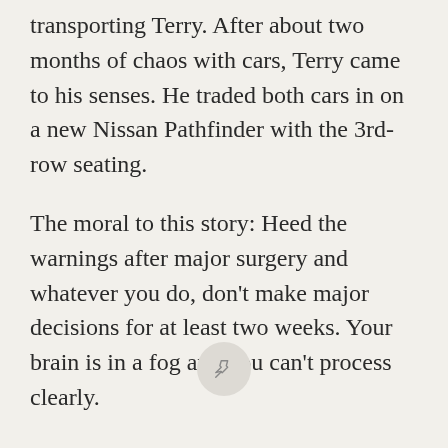transporting Terry. After about two months of chaos with cars, Terry came to his senses. He traded both cars in on a new Nissan Pathfinder with the 3rd-row seating.
The moral to this story: Heed the warnings after major surgery and whatever you do, don't make major decisions for at least two weeks. Your brain is in a fog and you can't process clearly.
[Figure (other): A circular pin/bookmark button icon centered at the bottom of the page]